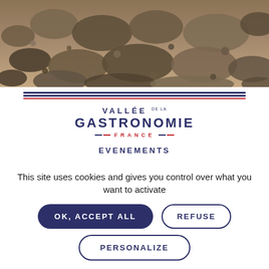[Figure (photo): Close-up photo of rocky/earthy terrain, brown and beige rocks and soil texture, serving as a hero banner image.]
[Figure (logo): Vallée de la Gastronomie France logo — stylized text with tricolor decorative lines. 'VALLÉE DE LA' in small caps above 'GASTRONOMIE' in large bold letters, with '==FRANCE==' below in red with blue decorative bars.]
EVENEMENTS
THE MAGAZINE
WHO ARE WE ?
LEGAL INFORMATION
This site uses cookies and gives you control over what you want to activate
OK, ACCEPT ALL
REFUSE
PERSONALIZE